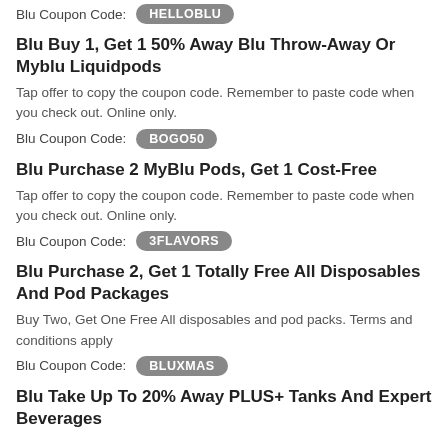Blu Coupon Code: HELLOBLU
Blu Buy 1, Get 1 50% Away Blu Throw-Away Or Myblu Liquidpods
Tap offer to copy the coupon code. Remember to paste code when you check out. Online only.
Blu Coupon Code: BOGO50
Blu Purchase 2 MyBlu Pods, Get 1 Cost-Free
Tap offer to copy the coupon code. Remember to paste code when you check out. Online only.
Blu Coupon Code: 3FLAVORS
Blu Purchase 2, Get 1 Totally Free All Disposables And Pod Packages
Buy Two, Get One Free All disposables and pod packs. Terms and conditions apply
Blu Coupon Code: BLUXMAS
Blu Take Up To 20% Away PLUS+ Tanks And Expert Beverages